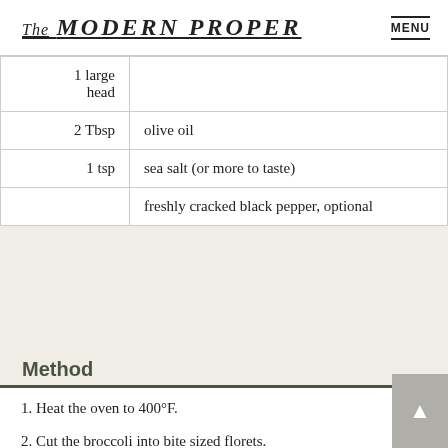The MODERN PROPER  MENU
| Qty | Ingredient |
| --- | --- |
| 1 large head |  |
| 2 Tbsp | olive oil |
| 1 tsp | sea salt (or more to taste) |
|  | freshly cracked black pepper, optional |
Method
Heat the oven to 400°F.
Cut the broccoli into bite sized florets.
Place the broccoli on a large rimmed baking…